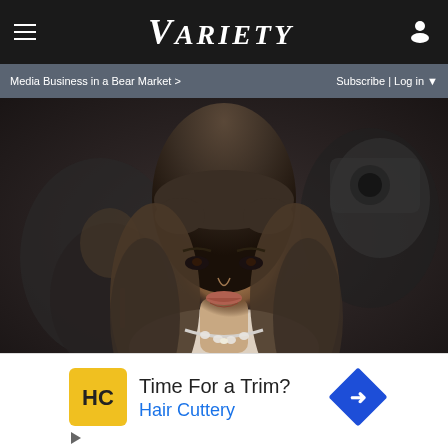VARIETY
Media Business in a Bear Market >   Subscribe | Log in
[Figure (photo): Woman with long wavy brown hair and bangs wearing a diamond necklace and white outfit at what appears to be a red carpet or film festival event. A man in black suit is visible behind her, and photographers with cameras are in the blurred background.]
Charlbi Dean, 'Triangle of Sadness' and 'Black Lightning' Actor, Dies at 32
[Figure (infographic): Advertisement for Hair Cuttery with yellow HC logo, text 'Time For a Trim? Hair Cuttery', and a blue diamond-shaped navigation arrow icon. Below are play and X (close) ad control icons.]